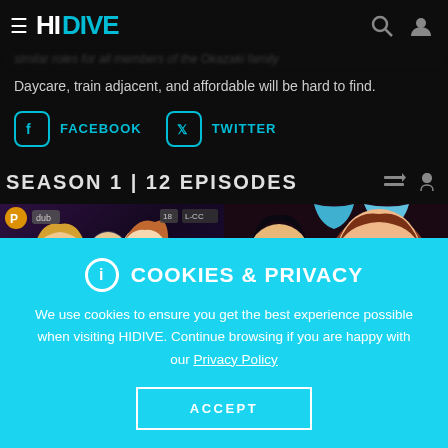HIDIVE - header navigation
Daycare, train adjacent, and affordable will be hard to find.
FACEBOOK   TWITTER
SEASON 1 | 12 EPISODES
[Figure (screenshot): Two anime episode thumbnail images side by side with play buttons]
COOKIES & PRIVACY
We use cookies to ensure you get the best experience possible when visiting HIDIVE. Continue browsing if you are happy with our Privacy Policy
ACCEPT